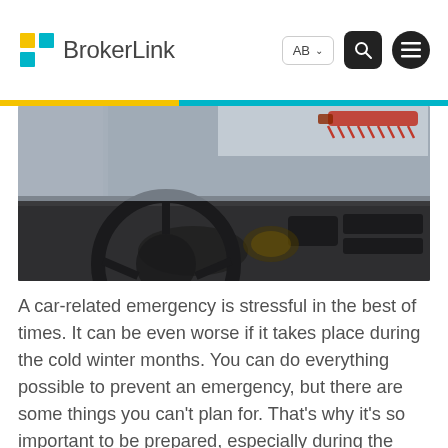BrokerLink
[Figure (photo): Interior view of a car dashboard and steering wheel in winter conditions, with a red snow brush visible clearing snow from the windshield outside.]
A car-related emergency is stressful in the best of times. It can be even worse if it takes place during the cold winter months. You can do everything possible to prevent an emergency, but there are some things you can’t plan for. That’s why it’s so important to be prepared, especially during the winter.